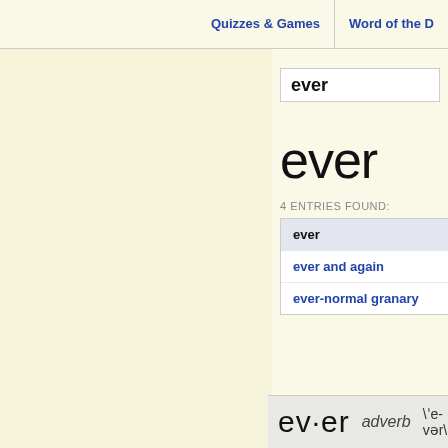Quizzes & Games | Word of the D
ever
ever
4 ENTRIES FOUND:
ever
ever and again
ever-normal granary
Eve on  See
ev·er  adverb  \ˈe-vər\